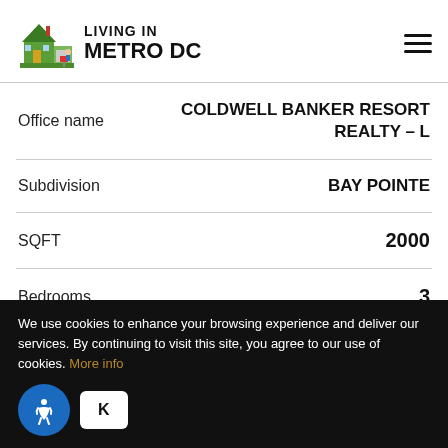Living In Metro DC
| Field | Value |
| --- | --- |
| Office name | COLDWELL BANKER RESORT REALTY – L |
| Subdivision | BAY POINTE |
| SQFT | 2000 |
| Bedrooms | 3 |
We use cookies to enhance your browsing experience and deliver our services. By continuing to visit this site, you agree to our use of cookies. More info
K